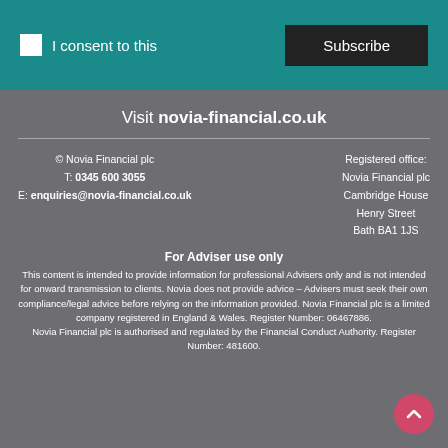I consent to this
Subscribe
Visit novia-financial.co.uk
© Novia Financial plc
T: 0345 600 3055
E: enquiries@novia-financial.co.uk
Registered office:
Novia Financial plc
Cambridge House
Henry Street
Bath BA1 1JS
For Adviser use only
This content is intended to provide information for professional Advisers only and is not intended for onward transmission to clients. Novia does not provide advice – Advisers must seek their own compliance/legal advice before relying on the information provided. Novia Financial plc is a limited company registered in England & Wales. Register Number: 06467886. Novia Financial plc is authorised and regulated by the Financial Conduct Authority. Register Number: 481600.